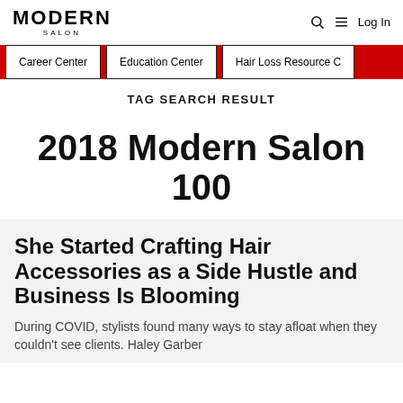MODERN SALON | Log In
Career Center | Education Center | Hair Loss Resource C
TAG SEARCH RESULT
2018 Modern Salon 100
She Started Crafting Hair Accessories as a Side Hustle and Business Is Blooming
During COVID, stylists found many ways to stay afloat when they couldn't see clients. Haley Garber